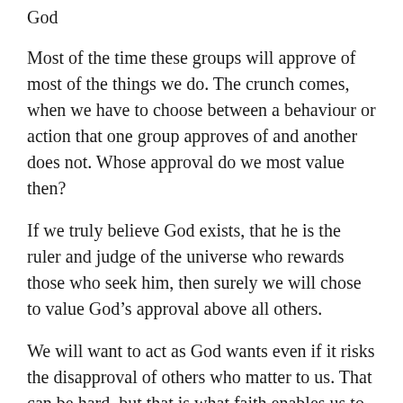God
Most of the time these groups will approve of most of the things we do. The crunch comes, when we have to choose between a behaviour or action that one group approves of and another does not. Whose approval do we most value then?
If we truly believe God exists, that he is the ruler and judge of the universe who rewards those who seek him, then surely we will chose to value God's approval above all others.
We will want to act as God wants even if it risks the disapproval of others who matter to us. That can be hard, but that is what faith enables us to do.
Faith sees beyond today's world to the word of God